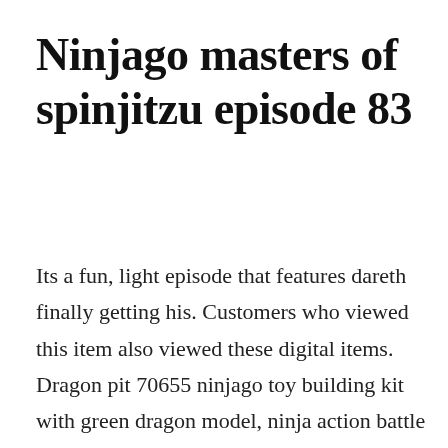Ninjago masters of spinjitzu episode 83
Its a fun, light episode that features dareth finally getting his. Customers who viewed this item also viewed these digital items. Dragon pit 70655 ninjago toy building kit with green dragon model, ninja action battle playset for kids 1660 pieces 4. The ninja seek the scroll of airjitzu before it gets stolen and try to find